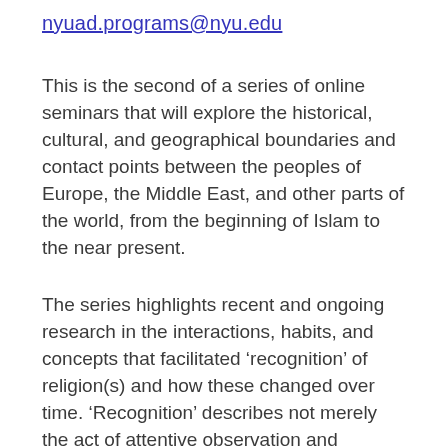nyuad.programs@nyu.edu
This is the second of a series of online seminars that will explore the historical, cultural, and geographical boundaries and contact points between the peoples of Europe, the Middle East, and other parts of the world, from the beginning of Islam to the near present.
The series highlights recent and ongoing research in the interactions, habits, and concepts that facilitated ‘recognition’ of religion(s) and how these changed over time. ‘Recognition’ describes not merely the act of attentive observation and